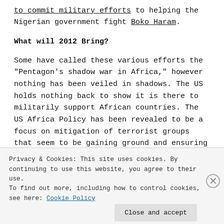to commit military efforts to helping the Nigerian government fight Boko Haram.
What will 2012 Bring?
Some have called these various efforts the “Pentagon’s shadow war in Africa,” however nothing has been veiled in shadows. The US holds nothing back to show it is there to militarily support African countries. The US Africa Policy has been revealed to be a focus on mitigation of terrorist groups that seem to be gaining ground and ensuring
Privacy & Cookies: This site uses cookies. By continuing to use this website, you agree to their use. To find out more, including how to control cookies, see here: Cookie Policy
Close and accept